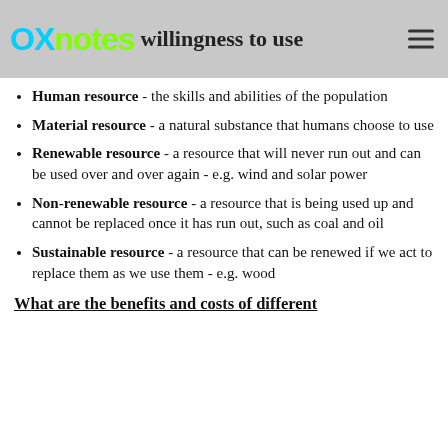OXnotes – willingness to use
Human resource - the skills and abilities of the population
Material resource - a natural substance that humans choose to use
Renewable resource - a resource that will never run out and can be used over and over again - e.g. wind and solar power
Non-renewable resource - a resource that is being used up and cannot be replaced once it has run out, such as coal and oil
Sustainable resource - a resource that can be renewed if we act to replace them as we use them - e.g. wood
What are the benefits and costs of different